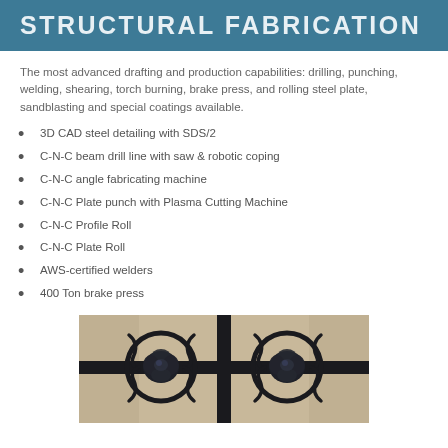STRUCTURAL FABRICATION
The most advanced drafting and production capabilities: drilling, punching, welding, shearing, torch burning, brake press, and rolling steel plate, sandblasting and special coatings available.
3D CAD steel detailing with SDS/2
C-N-C beam drill line with saw & robotic coping
C-N-C angle fabricating machine
C-N-C Plate punch with Plasma Cutting Machine
C-N-C Profile Roll
C-N-C Plate Roll
AWS-certified welders
400 Ton brake press
[Figure (photo): Decorative black metal fabricated gate panel with two rose ornaments and circular ring accents]